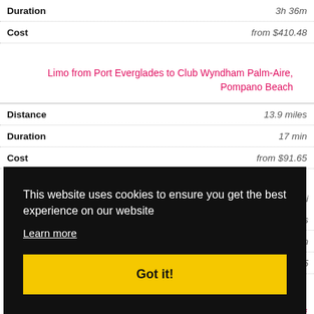| Field | Value |
| --- | --- |
| Duration | 3h 36m |
| Cost | from $410.48 |
Limo from Port Everglades to Club Wyndham Palm-Aire, Pompano Beach
| Field | Value |
| --- | --- |
| Distance | 13.9 miles |
| Duration | 17 min |
| Cost | from $91.65 |
This website uses cookies to ensure you get the best experience on our website
Learn more
Got it!